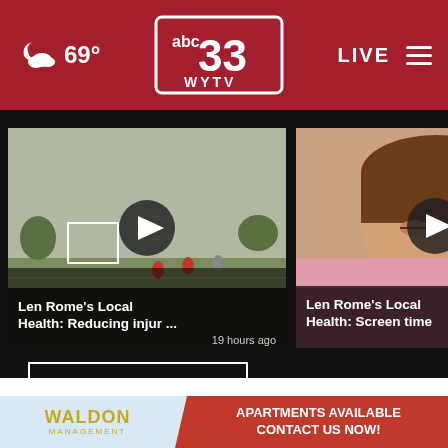69° | ABC 33 WYTV | LIVE
[Figure (screenshot): Video thumbnail: soccer field scene with play button overlay]
Len Rome's Local Health: Reducing injur ... 19 hours ago
[Figure (screenshot): Video thumbnail: child lying down with play button overlay]
Len Rome's Local Health: Screen time 2 days ago
[Figure (screenshot): Partial video thumbnail: Len Rome's Health (cropped)]
More Videos ›
[Figure (logo): The Hometown Pharmacy logo — green oval with pill icon]
[Figure (infographic): Waldon Management advertisement — APARTMENTS AVAILABLE CONTACT US NOW!]